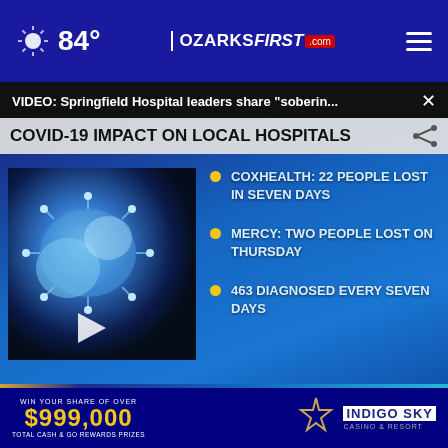84° | OZARKSFIRST.com
VIDEO: Springfield Hospital leaders share "soberin...  ×
[Figure (screenshot): COVID-19 IMPACT ON LOCAL HOSPITALS infographic with bullet points: COXHEALTH: 22 PEOPLE LOST IN SEVEN DAYS; MERCY: TWO PEOPLE LOST ON THURSDAY; 463 DIAGNOSED EVERY SEVEN DAYS. Left side shows coronavirus particle image with play button overlay.]
Hands Down the Top Credit Card of
[Figure (infographic): Indigo Sky Casino & Resort advertisement: WIN YOUR SHARE OF OVER $999,000 Total Cash & GO Rewards Prizes]